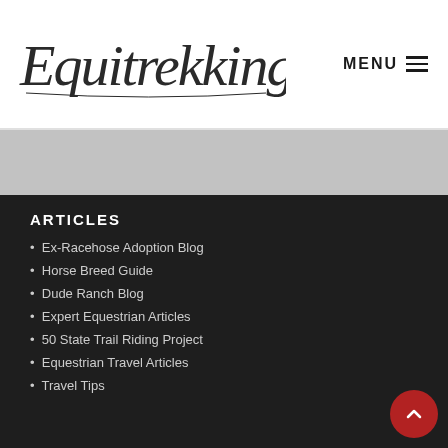Equitrekking — MENU
ARTICLES
Ex-Racehose Adoption Blog
Horse Breed Guide
Dude Ranch Blog
Expert Equestrian Articles
50 State Trail Riding Project
Equestrian Travel Articles
Travel Tips